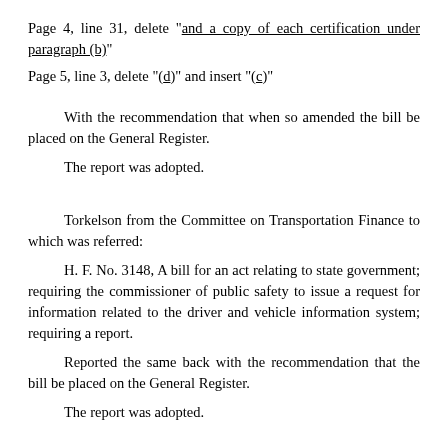Page 4, line 31, delete "and a copy of each certification under paragraph (b)"
Page 5, line 3, delete "(d)" and insert "(c)"
With the recommendation that when so amended the bill be placed on the General Register.
The report was adopted.
Torkelson from the Committee on Transportation Finance to which was referred:
H. F. No. 3148, A bill for an act relating to state government; requiring the commissioner of public safety to issue a request for information related to the driver and vehicle information system; requiring a report.
Reported the same back with the recommendation that the bill be placed on the General Register.
The report was adopted.
Torkelson from the Committee on Transportation Finance to which was referred:
H. F. No. 3156, A bill for an act relating to capital investment; appropriating money for local roads and bridges; authorizing the sale and issuance of state bonds.